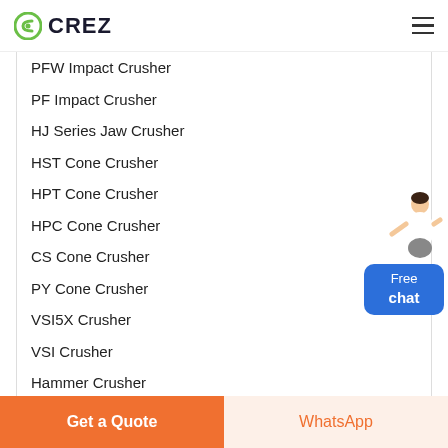CREZ
PFW Impact Crusher
PF Impact Crusher
HJ Series Jaw Crusher
HST Cone Crusher
HPT Cone Crusher
HPC Cone Crusher
CS Cone Crusher
PY Cone Crusher
VSI5X Crusher
VSI Crusher
Hammer Crusher
GRINDING EQUIPMENT
LM Vertical Grinding Mills